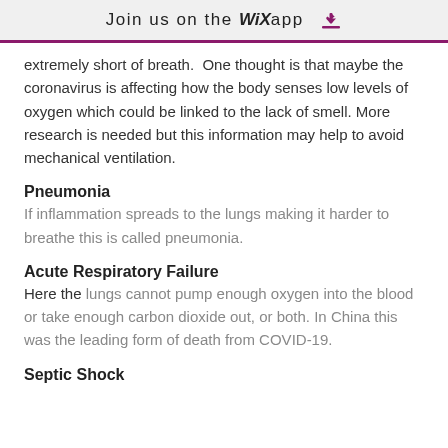Join us on the WiX app
extremely short of breath. One thought is that maybe the coronavirus is affecting how the body senses low levels of oxygen which could be linked to the lack of smell. More research is needed but this information may help to avoid mechanical ventilation.
Pneumonia
If inflammation spreads to the lungs making it harder to breathe this is called pneumonia.
Acute Respiratory Failure
Here the lungs cannot pump enough oxygen into the blood or take enough carbon dioxide out, or both. In China this was the leading form of death from COVID-19.
Septic Shock